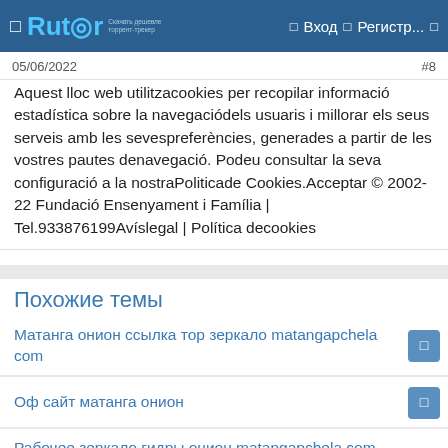Rutor | Вход | Регистр...
05/06/2022	#8
Aquest lloc web utilitzacookies per recopilar informació estadística sobre la navegaciódels usuaris i millorar els seus serveis amb les sevespreferències, generades a partir de les vostres pautes denavegació. Podeu consultar la seva configuració a la nostraPoliticade Cookies.Acceptar © 2002-22 Fundació Ensenyament i Família | Tel.933876199Avíslegal | Política decookies
Похожие темы
Матанга онион ссылка тор зеркало matangapchela com
Оф сайт матанга онион
Рабочее зеркало гидры онион matangapchela com